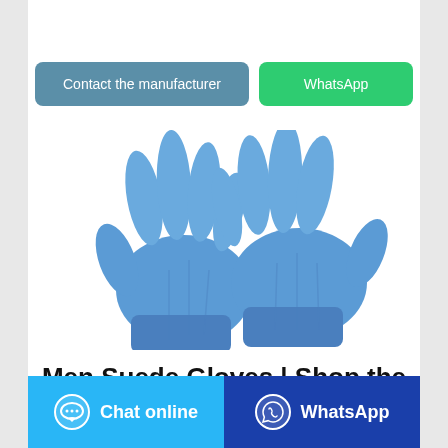[Figure (other): Two blue nitrile/latex examination gloves displayed on white background]
Men Suede Gloves | Shop the
Contact the manufacturer
WhatsApp
Chat online
WhatsApp